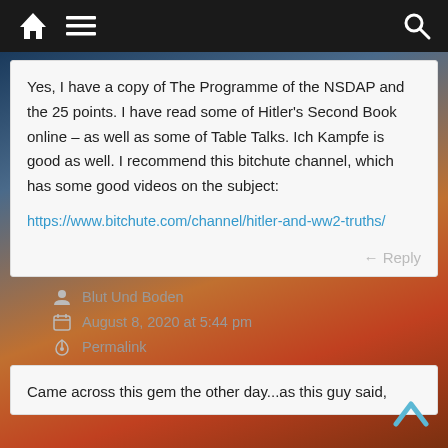Navigation bar with home, menu, and search icons
Yes, I have a copy of The Programme of the NSDAP and the 25 points. I have read some of Hitler's Second Book online – as well as some of Table Talks. Ich Kampfe is good as well. I recommend this bitchute channel, which has some good videos on the subject:
https://www.bitchute.com/channel/hitler-and-ww2-truths/
Reply
Blut Und Boden
August 8, 2020 at 5:44 pm
Permalink
Came across this gem the other day...as this guy said,